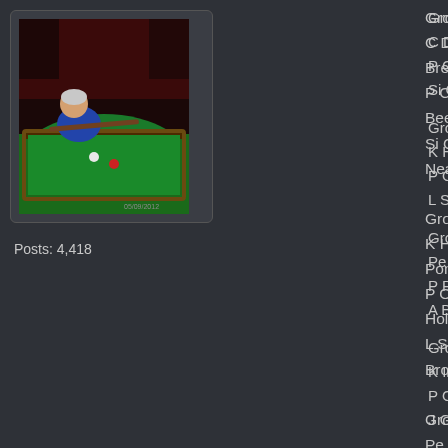[Figure (photo): Man playing snooker on a green table in a pub/club setting]
Posts: 4,418
Group 1
C Driver/M Brewster
P Collins/L Beer
Si Coleman/J Neal
Group 2
K Hollis?/S Ponting
P Oakley/B Holt
L Stratford/V Brown
Group 3
Pe Sainsbury/Pa Sainsbury
P Phillips/S Sheard
A Burns/A Walsh
Group 4
K Ingram/D Ingram
P Osbourne/B Hall
J Greensted/St Coleman
Group 5
M Cole/K Tunstall
D Constable/T Cross
J Tyson/L Tyson
Group 6
G Powell/C Robbins
T Jenner/R Cunningham
P Withey/K Sheard
Group 7